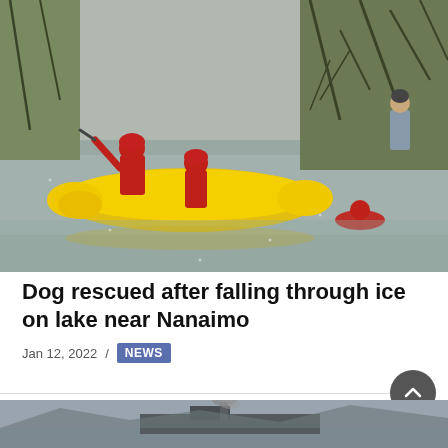[Figure (photo): Rescue workers in red suits on a yellow inflatable raft on an icy lake, with another rescuer in the water, and a bystander in grey jacket on the tree-lined shore]
Dog rescued after falling through ice on lake near Nanaimo
Jan 12, 2022 / NEWS
[Figure (photo): Partial view of a ship or barge with smoke in foggy/overcast conditions on water]